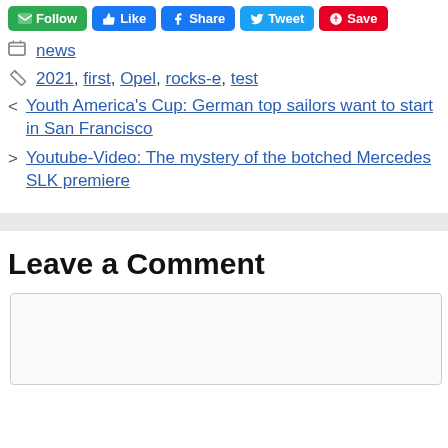[Figure (other): Social sharing buttons: Follow (green), Like (blue), Share (Facebook blue), Tweet (Twitter blue), Save (Pinterest red)]
news
2021, first, Opel, rocks-e, test
< Youth America's Cup: German top sailors want to start in San Francisco
> Youtube-Video: The mystery of the botched Mercedes SLK premiere
Leave a Comment